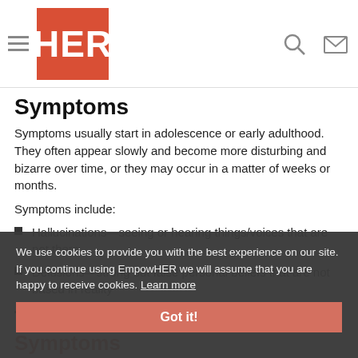HER
Symptoms
Symptoms usually start in adolescence or early adulthood. They often appear slowly and become more disturbing and bizarre over time, or they may occur in a matter of weeks or months.
Symptoms include:
Hallucinations—seeing or hearing things/voices that are not there
Delusions—strong but false personal beliefs that are not based in reality
The Latest in Schizophrenia Symptoms & Diagnosis